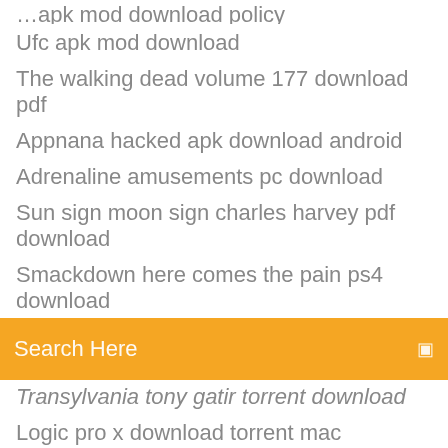Ufc apk mod download
The walking dead volume 177 download pdf
Appnana hacked apk download android
Adrenaline amusements pc download
Sun sign moon sign charles harvey pdf download
Smackdown here comes the pain ps4 download
[Figure (screenshot): Orange search bar with text 'Search Here' and a search icon on the right]
Transylvania tony gatir torrent download
Logic pro x download torrent mac
Usb microsoft arc mouse driver download
Download minecraft biome bundle with no forge
Genesis roms md file download
Samsung galaxy note 4 pc suite free download
How to download files from sd card iphone
Usb microsoft arc mouse driver download
Mm super patcher latest version download
X air app for pc download
Download numbers for the quickchat app